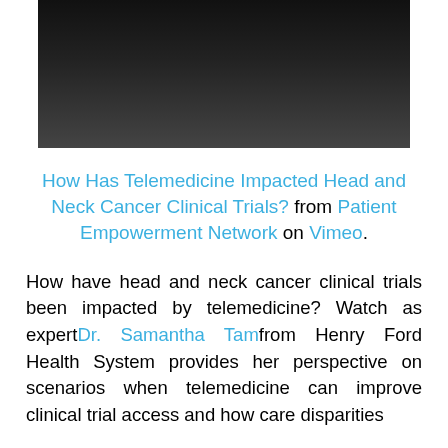[Figure (screenshot): Dark video thumbnail placeholder — black/dark grey gradient background representing a Vimeo video embed]
How Has Telemedicine Impacted Head and Neck Cancer Clinical Trials? from Patient Empowerment Network on Vimeo.
How have head and neck cancer clinical trials been impacted by telemedicine? Watch as expert Dr. Samantha Tam from Henry Ford Health System provides her perspective on scenarios when telemedicine can improve clinical trial access and how care disparities